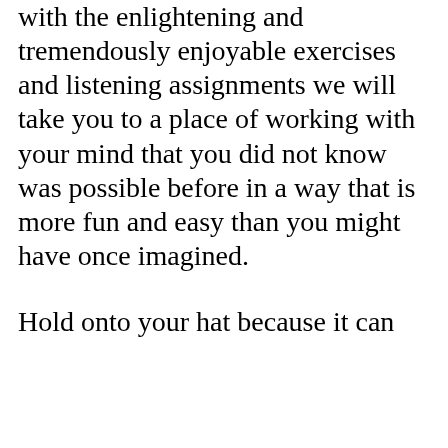with the enlightening and tremendously enjoyable exercises and listening assignments we will take you to a place of working with your mind that you did not know was possible before in a way that is more fun and easy than you might have once imagined.
Hold onto your hat because it can